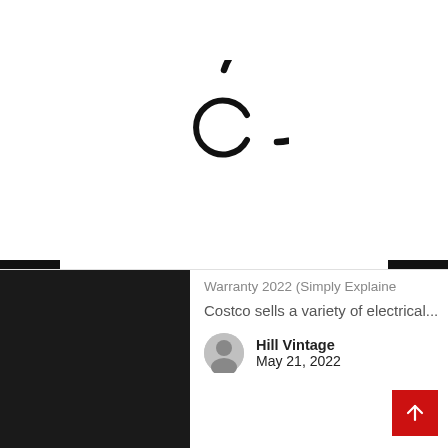[Figure (logo): Circular logo mark with a stylized 'C' inside a broken circle, rendered in black outline]
Warranty 2022 (Simply Explained
Costco sells a variety of electrical...
[Figure (photo): Dark/black image thumbnail on left side of card]
Hill Vintage
May 21, 2022